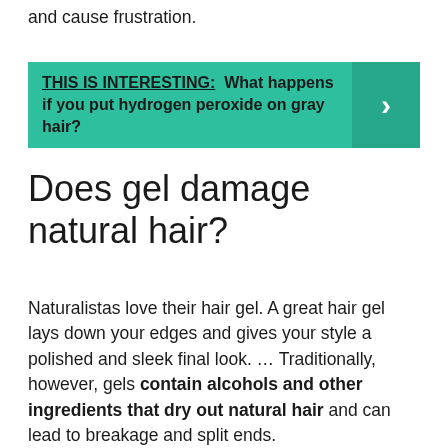and cause frustration.
THIS IS INTERESTING: What happens if you put hydrogen peroxide on gray hair?
Does gel damage natural hair?
Naturalistas love their hair gel. A great hair gel lays down your edges and gives your style a polished and sleek final look. … Traditionally, however, gels contain alcohols and other ingredients that dry out natural hair and can lead to breakage and split ends.